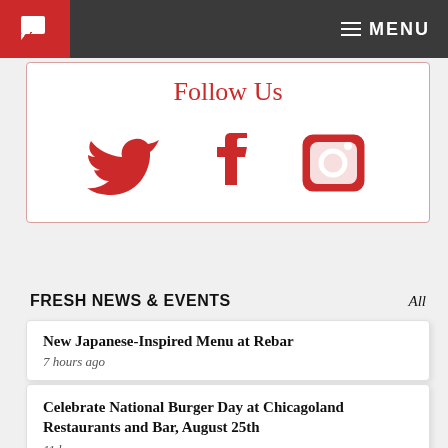cfm | MENU
Follow Us
[Figure (illustration): Three social media icons in red: Twitter bird, Facebook f, and Instagram camera]
FRESH NEWS & EVENTS
All
New Japanese-Inspired Menu at Rebar
7 hours ago
Celebrate National Burger Day at Chicagoland Restaurants and Bar, August 25th
11 hours ago